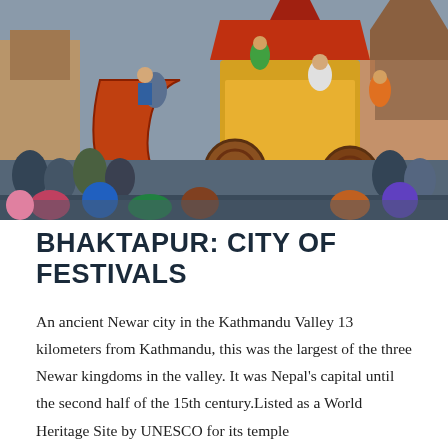[Figure (photo): A colorful festival scene in Bhaktapur, Nepal. A large ornate wooden chariot decorated in yellow and red with curved bow-like front is pulled through crowded streets. People are climbing on the chariot structure. Traditional brick buildings and a temple are visible in the background. Crowds of festival-goers surround the chariot.]
BHAKTAPUR: CITY OF FESTIVALS
An ancient Newar city in the Kathmandu Valley 13 kilometers from Kathmandu, this was the largest of the three Newar kingdoms in the valley. It was Nepal's capital until the second half of the 15th century.Listed as a World Heritage Site by UNESCO for its temple